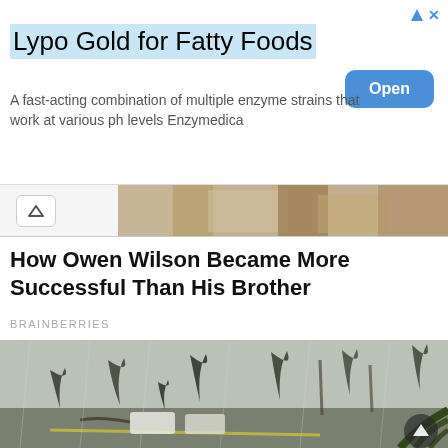[Figure (screenshot): Advertisement banner for Lypo Gold for Fatty Foods by Enzymedica with an Open button]
Lypo Gold for Fatty Foods
A fast-acting combination of multiple enzyme strains that work at various ph levels Enzymedica
[Figure (screenshot): Navigation strip with a caret/chevron up button and partial photo strip]
How Owen Wilson Became More Successful Than His Brother
BRAINBERRIES
[Figure (photo): Hurricane scene with palm trees bending in strong winds, cars in a parking lot, and debris on a road]